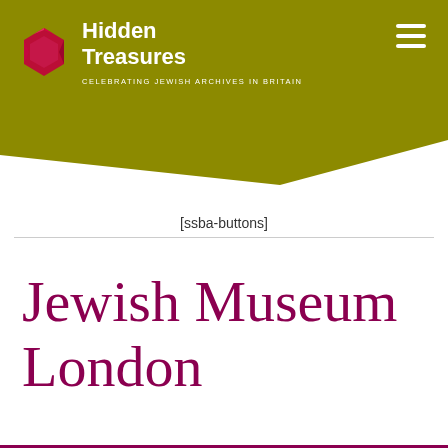[Figure (logo): Hidden Treasures logo with gem icon, white text on olive/gold background with diagonal cut at bottom. Subtitle: CELEBRATING JEWISH ARCHIVES IN BRITAIN]
[ssba-buttons]
Jewish Museum London